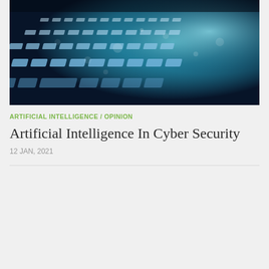[Figure (photo): Close-up photograph of a laptop keyboard with glowing teal/blue backlit keys in a dark setting, creating a technology/cybersecurity aesthetic]
ARTIFICIAL INTELLIGENCE / OPINION
Artificial Intelligence In Cyber Security
12 JAN, 2021